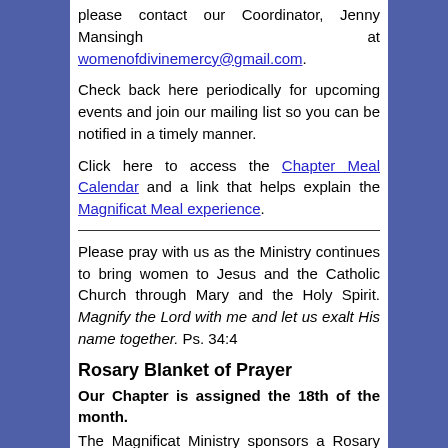please contact our Coordinator, Jenny Mansingh at womenofdivinemercy@gmail.com.
Check back here periodically for upcoming events and join our mailing list so you can be notified in a timely manner.
Click here to access the Chapter Meal Calendar and a link that helps explain the Magnificat Meal experience.
Please pray with us as the Ministry continues to bring women to Jesus and the Catholic Church through Mary and the Holy Spirit. Magnify the Lord with me and let us exalt His name together. Ps. 34:4
Rosary Blanket of Prayer
Our Chapter is assigned the 18th of the month.
The Magnificat Ministry sponsors a Rosary Blanket of Prayer in response to our Holy